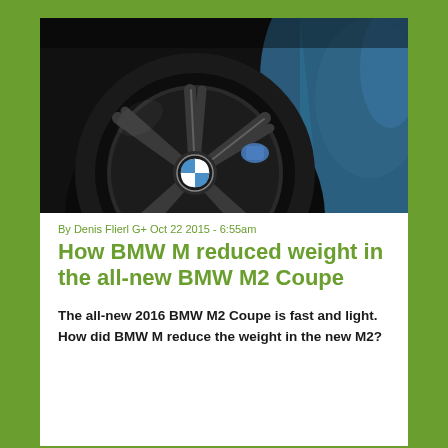[Figure (photo): Close-up photo of a BMW M2 Coupe wheel and front fender, showing a black multi-spoke alloy wheel with BMW logo center cap, blue brake caliper visible, and blue metallic car body]
By Denis Flierl G+ Oct 22 2015 - 6:55am
How BMW M reduced weight in the all-new BMW M2 Coupe
The all-new 2016 BMW M2 Coupe is fast and light. How did BMW M reduce the weight in the new M2?